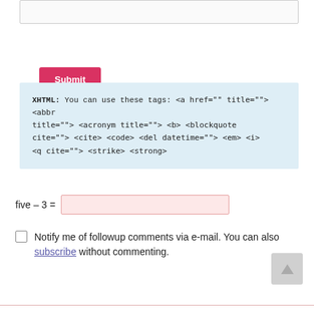[textarea box]
Submit
XHTML: You can use these tags: <a href="" title=""> <abbr title=""> <acronym title=""> <b> <blockquote cite=""> <cite> <code> <del datetime=""> <em> <i> <q cite=""> <strike> <strong>
five – 3 =
Notify me of followup comments via e-mail. You can also subscribe without commenting.